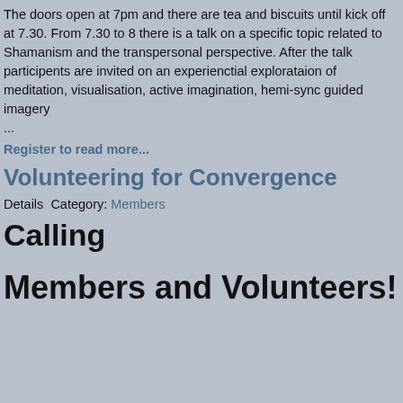The doors open at 7pm and there are tea and biscuits until kick off at 7.30. From 7.30 to 8 there is a talk on a specific topic related to Shamanism and the transpersonal perspective. After the talk participents are invited on an experienctial explorataion of meditation, visualisation, active imagination, hemi-sync guided imagery
...
Register to read more...
Volunteering for Convergence
Details  Category: Members
Calling
Members and Volunteers!